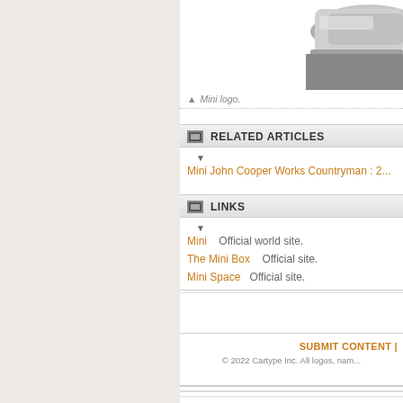[Figure (photo): Partial view of a car (Mini logo area) - top right corner showing chrome/silver car detail on white background]
▲ Mini logo.
RELATED ARTICLES
Mini John Cooper Works Countryman : 2...
LINKS
Mini   Official world site.
The Mini Box   Official site.
Mini Space   Official site.
SUBMIT CONTENT | © 2022 Cartype Inc. All logos, nam...